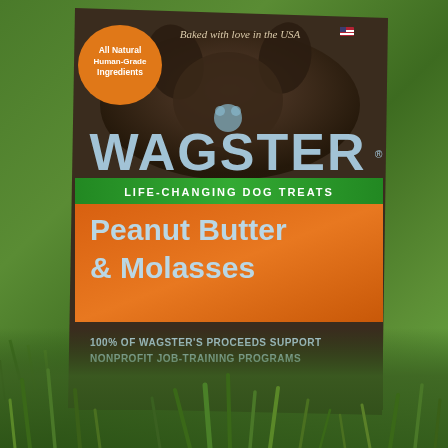[Figure (photo): A Wagster brand dog treat package (Peanut Butter & Molasses flavor) photographed outdoors resting in green grass. The package shows: an orange circular badge reading 'All Natural Human-Grade Ingredients' in the top left, italic text 'Baked with love in the USA' with a US flag icon at top center-right, the brand name 'WAGSTER' in large light blue letters with a dog silhouette above, a green banner reading 'LIFE-CHANGING DOG TREATS', a large orange section with 'Peanut Butter & Molasses' in light blue text, and a dark brown bottom section reading '100% OF WAGSTER'S PROCEEDS SUPPORT NONPROFIT JOB-TRAINING PROGRAMS'.]